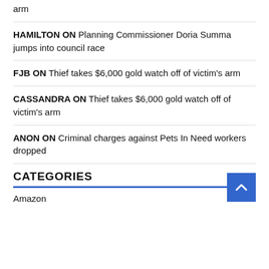arm
HAMILTON ON Planning Commissioner Doria Summa jumps into council race
FJB ON Thief takes $6,000 gold watch off of victim's arm
CASSANDRA ON Thief takes $6,000 gold watch off of victim's arm
ANON ON Criminal charges against Pets In Need workers dropped
CATEGORIES
Amazon